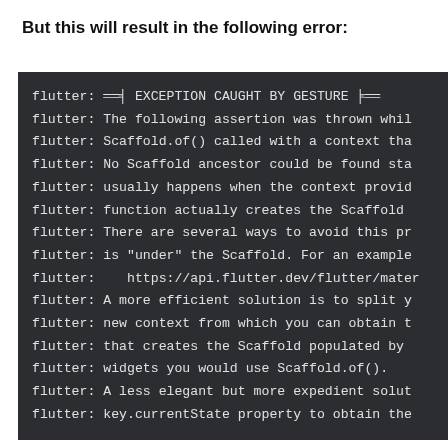But this will result in the following error:
[Figure (screenshot): Terminal/console output showing a Flutter exception error log with dark background. Lines show 'flutter:' prefix followed by error messages about EXCEPTION CAUGHT BY GESTURE, Scaffold.of() context error, and suggested solutions.]